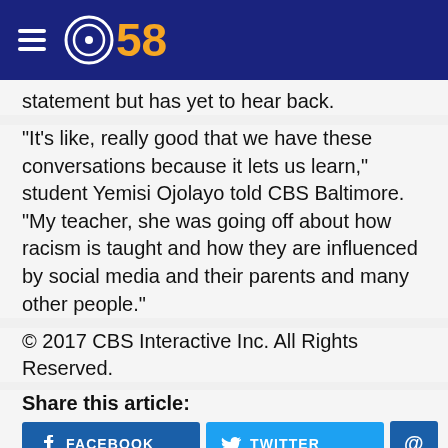[Figure (logo): CBS 58 logo with hamburger menu on dark blue header background]
statement but has yet to hear back.
"It's like, really good that we have these conversations because it lets us learn," student Yemisi Ojolayo told CBS Baltimore. "My teacher, she was going off about how racism is taught and how they are influenced by social media and their parents and many other people."
© 2017 CBS Interactive Inc. All Rights Reserved.
Share this article:
[Figure (screenshot): Share buttons: Facebook, Twitter, and email (@) icon buttons]
[Figure (screenshot): Advertisement strip at bottom with X close button and 35% OFF sale tag]